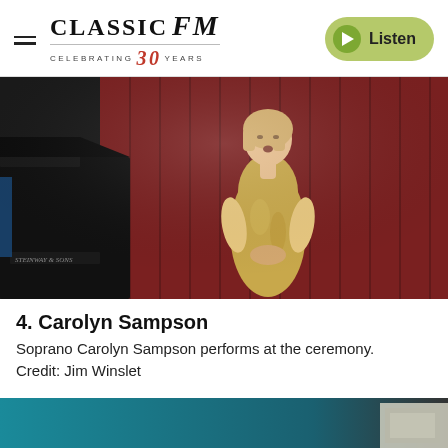CLASSIC FM — CELEBRATING 30 YEARS — Listen
[Figure (photo): Soprano Carolyn Sampson performing on stage in a gold dress, with a grand piano (Steinway & Sons) in the background left, and red panelled backdrop behind her.]
4. Carolyn Sampson
Soprano Carolyn Sampson performs at the ceremony. Credit: Jim Winslet
[Figure (photo): Bottom strip: partial view of next image showing teal/blue tones and architectural detail on the right.]